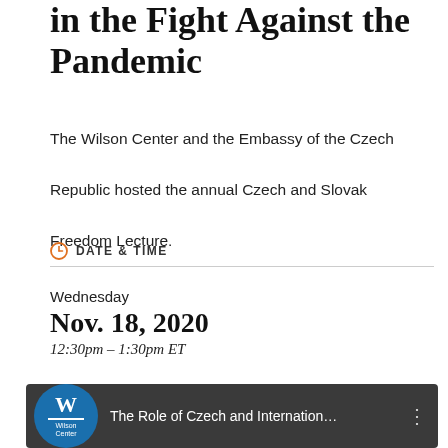in the Fight Against the Pandemic
The Wilson Center and the Embassy of the Czech Republic hosted the annual Czech and Slovak Freedom Lecture.
DATE & TIME
Wednesday
Nov. 18, 2020
12:30pm – 1:30pm ET
[Figure (screenshot): Video thumbnail showing Wilson Center logo and title 'The Role of Czech and Internation...' with a person in the background]